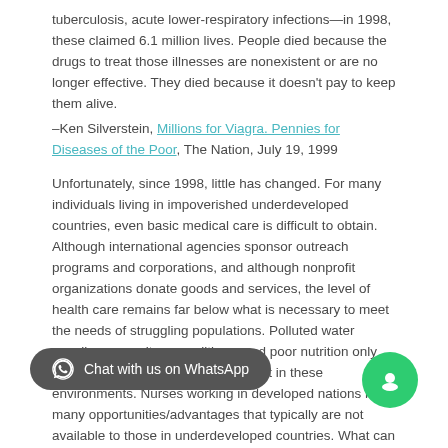tuberculosis, acute lower-respiratory infections—in 1998, these claimed 6.1 million lives. People died because the drugs to treat those illnesses are nonexistent or are no longer effective. They died because it doesn't pay to keep them alive.
–Ken Silverstein, Millions for Viagra. Pennies for Diseases of the Poor, The Nation, July 19, 1999
Unfortunately, since 1998, little has changed. For many individuals living in impoverished underdeveloped countries, even basic medical care is difficult to obtain. Although international agencies sponsor outreach programs and corporations, and although nonprofit organizations donate goods and services, the level of health care remains far below what is necessary to meet the needs of struggling populations. Polluted water supplies, unsanitary conditions, and poor nutrition only exacerbate the poor health prevalent in these environments. Nurses working in developed nations have many opportunities/advantages that typically are not available to those in underdeveloped countries. What can nurses do to support their international colleagues and help provide care to the most underserved of the world?
In this Discussion, you will consider the challenges of providing